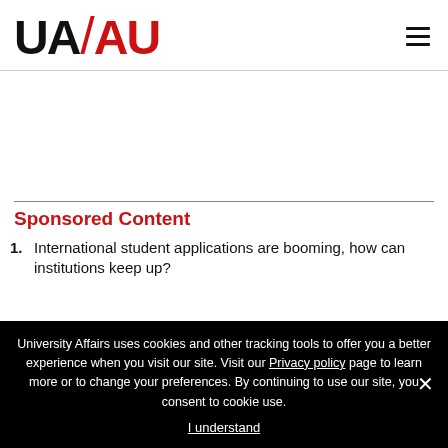UA/AU logo and hamburger menu
Sponsored Content
International student applications are booming, how can institutions keep up?
University Affairs uses cookies and other tracking tools to offer you a better experience when you visit our site. Visit our Privacy policy page to learn more or to change your preferences. By continuing to use our site, you consent to cookie use. I understand